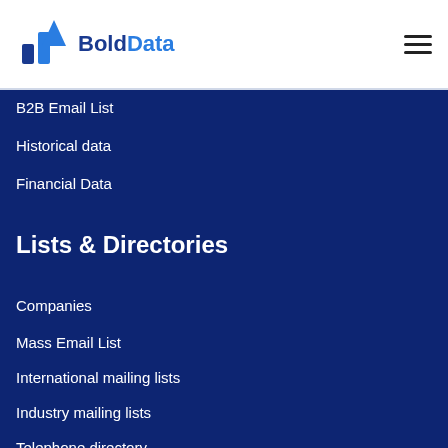BoldData
B2B Email List
Historical data
Financial Data
Lists & Directories
Companies
Mass Email List
International mailing lists
Industry mailing lists
Telephone directory
SIC code
NACE code
Directories in Industries